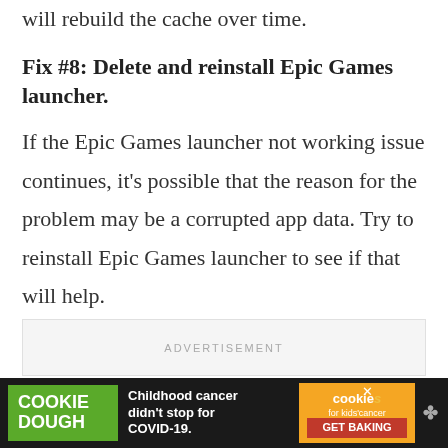will rebuild the cache over time.
Fix #8: Delete and reinstall Epic Games launcher.
If the Epic Games launcher not working issue continues, it's possible that the reason for the problem may be a corrupted app data. Try to reinstall Epic Games launcher to see if that will help.
[Figure (other): Advertisement banner placeholder box with the text ADVERTISEMENT]
[Figure (other): Cookie Dough ad banner at bottom: 'Childhood cancer didn't stop for COVID-19.' with cookies for kids cancer Get Baking logo]